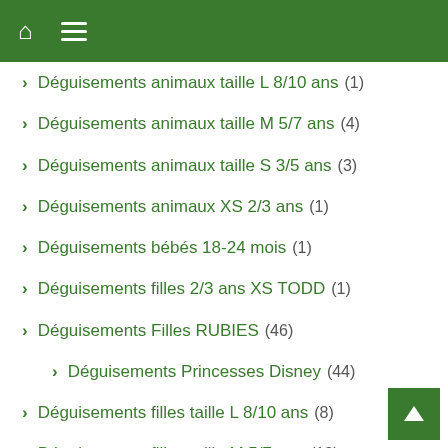Navigation header with home icon and hamburger menu
Déguisements animaux taille L 8/10 ans (1)
Déguisements animaux taille M 5/7 ans (4)
Déguisements animaux taille S 3/5 ans (3)
Déguisements animaux XS 2/3 ans (1)
Déguisements bébés 18-24 mois (1)
Déguisements filles 2/3 ans XS TODD (1)
Déguisements Filles RUBIES (46)
Déguisements Princesses Disney (44)
Déguisements filles taille L 8/10 ans (8)
Déguisements filles taille M 5/7 ans (12)
Déguisements filles taille S 3/5 ans (13)